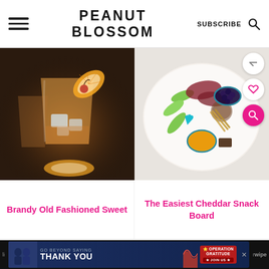PEANUT BLOSSOM | SUBSCRIBE
[Figure (photo): A brandy old fashioned sweet cocktail in a glass with ice, garnished with an orange slice and a maraschino cherry. Dark moody background.]
[Figure (photo): A charcuterie/snack board with cheese, cured meats, blackberries, green apple slices, walnuts, breadsticks, and mustard dip, viewed from above.]
Brandy Old Fashioned Sweet
The Easiest Cheddar Snack Board
[Figure (photo): Advertisement banner: GO BEYOND SAYING THANK YOU – Operation Gratitude JOIN US]